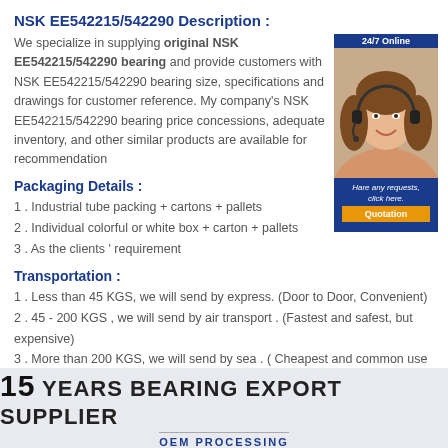NSK EE542215/542290 Description :
We specialize in supplying original NSK EE542215/542290 bearing and provide customers with NSK EE542215/542290 bearing size, specifications and drawings for customer reference. My company's NSK EE542215/542290 bearing price concessions, adequate inventory, and other similar products are available for recommendation
[Figure (photo): Customer service representative with headset, 24/7 Online badge and Quotation button]
Packaging Details :
1 . Industrial tube packing + cartons + pallets
2 . Individual colorful or white box + carton + pallets
3 . As the clients ' requirement
Transportation :
1 . Less than 45 KGS, we will send by express. (Door to Door, Convenient)
2 . 45 - 200 KGS , we will send by air transport . (Fastest and safest, but expensive)
3 . More than 200 KGS, we will send by sea . ( Cheapest and common use )
[Figure (infographic): 15 YEARS BEARING EXPORT SUPPLIER banner with OEM PROCESSING subtitle]